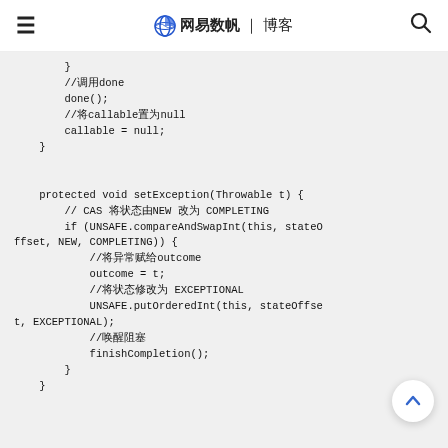≡  网易数帆｜博客  🔍
Code block showing Java FutureTask setException method implementation with comments in Chinese